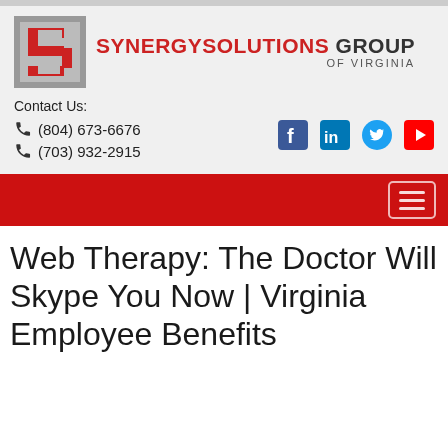[Figure (logo): Synergy Solutions Group of Virginia logo with red S icon and brand name]
Contact Us:
☎ (804) 673-6676
☎ (703) 932-2915
[Figure (other): Social media icons: Facebook, LinkedIn, Twitter, YouTube]
[Figure (other): Red navigation bar with hamburger menu button]
Web Therapy: The Doctor Will Skype You Now | Virginia Employee Benefits